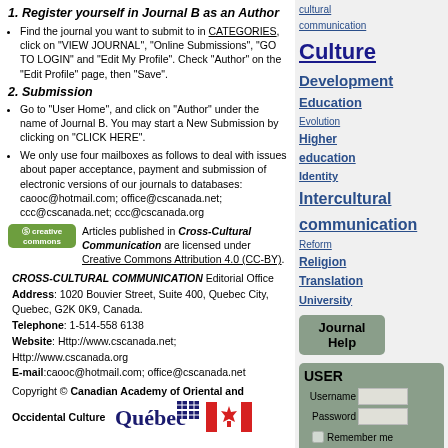1. Register yourself in Journal B as an Author
Find the journal you want to submit to in CATEGORIES, click on "VIEW JOURNAL", "Online Submissions", "GO TO LOGIN" and "Edit My Profile". Check "Author" on the "Edit Profile" page, then "Save".
2. Submission
Go to "User Home", and click on "Author" under the name of Journal B. You may start a New Submission by clicking on "CLICK HERE".
We only use four mailboxes as follows to deal with issues about paper acceptance, payment and submission of electronic versions of our journals to databases: caooc@hotmail.com; office@cscanada.net; ccc@cscanada.net; ccc@cscanada.org
Articles published in Cross-Cultural Communication are licensed under Creative Commons Attribution 4.0 (CC-BY).
CROSS-CULTURAL COMMUNICATION Editorial Office
Address: 1020 Bouvier Street, Suite 400, Quebec City, Quebec, G2K 0K9, Canada.
Telephone: 1-514-558 6138
Website: Http://www.cscanada.net; Http://www.cscanada.org
E-mail:caooc@hotmail.com; office@cscanada.net
Copyright © Canadian Academy of Oriental and Occidental Culture
[Figure (illustration): Quebec fleur-de-lis logo and Canadian maple leaf flag]
cultural communication, Culture, Development, Education, Evolution, Higher education, Identity, Intercultural communication, Reform, Religion, Translation, University (tag cloud)
Journal Help
USER
Username
Password
Remember me
Login